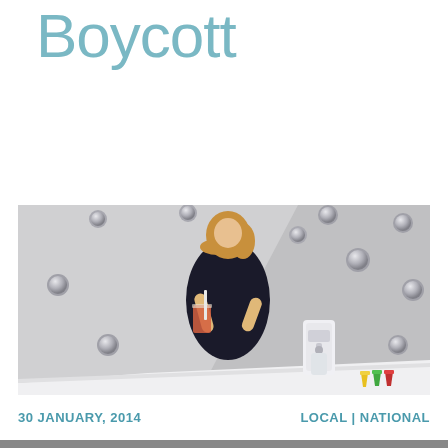Boycott
[Figure (photo): Woman in black dress drinking through a straw from a glass, next to a SodaStream machine on a white counter, with silver spheres decorating the background and colorful cups (yellow, green, red) on the counter]
30 JANUARY, 2014
LOCAL | NATIONAL